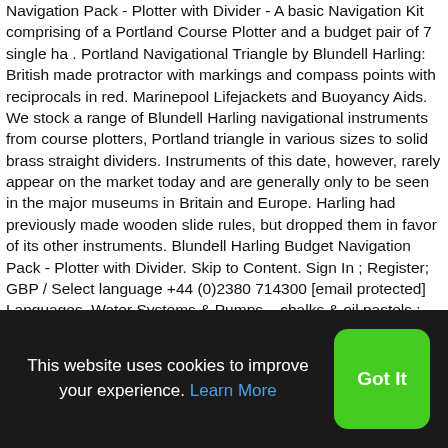Navigation Pack - Plotter with Divider - A basic Navigation Kit comprising of a Portland Course Plotter and a budget pair of 7 single ha . Portland Navigational Triangle by Blundell Harling: British made protractor with markings and compass points with reciprocals in red. Marinepool Lifejackets and Buoyancy Aids. We stock a range of Blundell Harling navigational instruments from course plotters, Portland triangle in various sizes to solid brass straight dividers. Instruments of this date, however, rarely appear on the market today and are generally only to be seen in the major museums in Britain and Europe. Harling had previously made wooden slide rules, but dropped them in favor of its other instruments. Blundell Harling Budget Navigation Pack - Plotter with Divider. Skip to Content. Sign In ; Register; GBP / Select language +44 (0)2380 714300 [email protected] Languages. Water Systems & Pumps. , chalks & oil pastels ; Fibre-tip pens ; All … Colouring & painting products ends... Complete with course Plotter and 7-Inch Singlehanded
This website uses cookies to improve your experience. Learn More